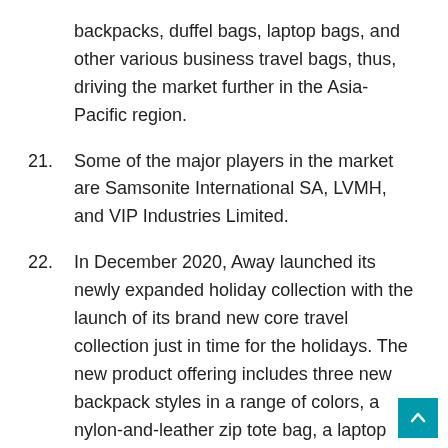backpacks, duffel bags, laptop bags, and other various business travel bags, thus, driving the market further in the Asia-Pacific region.
21. Some of the major players in the market are Samsonite International SA, LVMH, and VIP Industries Limited.
22. In December 2020, Away launched its newly expanded holiday collection with the launch of its brand new core travel collection just in time for the holidays. The new product offering includes three new backpack styles in a range of colors, a nylon-and-leather zip tote bag, a laptop bag, and a messenger bag.
23. (partial, cut off)